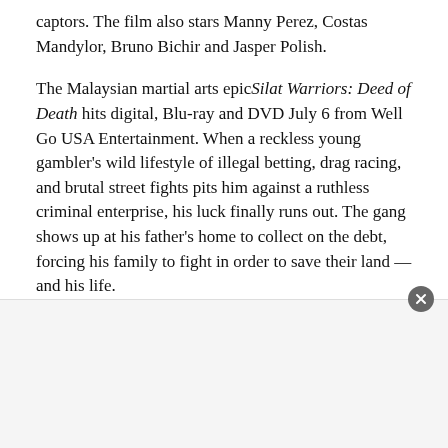captors. The film also stars Manny Perez, Costas Mandylor, Bruno Bichir and Jasper Polish.
The Malaysian martial arts epic Silat Warriors: Deed of Death hits digital, Blu-ray and DVD July 6 from Well Go USA Entertainment. When a reckless young gambler's wild lifestyle of illegal betting, drag racing, and brutal street fights pits him against a ruthless criminal enterprise, his luck finally runs out. The gang shows up at his father's home to collect on the debt, forcing his family to fight in order to save their land — and his life.
Subscribe HERE to the FREE Media Play News Daily Newsletter!